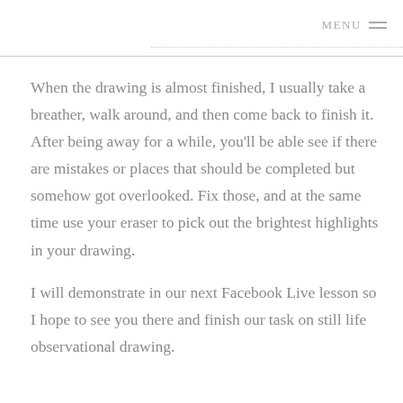MENU
When the drawing is almost finished, I usually take a breather, walk around, and then come back to finish it. After being away for a while, you'll be able see if there are mistakes or places that should be completed but somehow got overlooked. Fix those, and at the same time use your eraser to pick out the brightest highlights in your drawing.
I will demonstrate in our next Facebook Live lesson so I hope to see you there and finish our task on still life observational drawing.